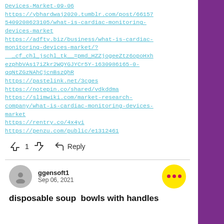Devices-Market-09-06
https://ybhardwaj2020.tumblr.com/post/661575409208623105/what-is-cardiac-monitoring-devices-market
https://adfty.biz/business/what-is-cardiac-monitoring-devices-market/? __cf_chl_jschl_tk__=pmd_HZZjogeeZtz6opoHxhezphbVAs17iZkr2WQYGJYCr5Y-1630986165-0-gqNtZGzNAhCjcnBszQhR
https://pastelink.net/3cges
https://notepin.co/shared/vdkddma
https://slimwiki.com/market-research-company/what-is-cardiac-monitoring-devices-market
https://rentry.co/4x4yi
https://penzu.com/public/e1312461
↑ 1 ↓   Reply
ggensoft1
Sep 06, 2021
disposable soup  bowls with handles